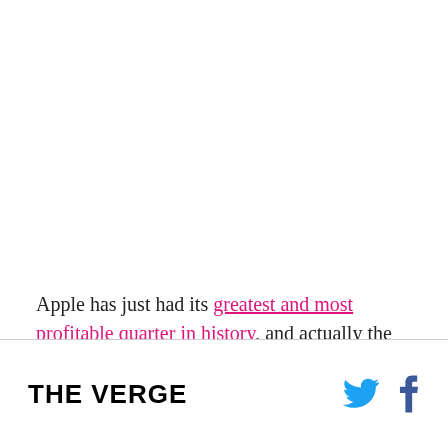Apple has just had its greatest and most profitable quarter in history, and actually the best quarter of any tech company ever. If even a portion of the NYT
THE VERGE